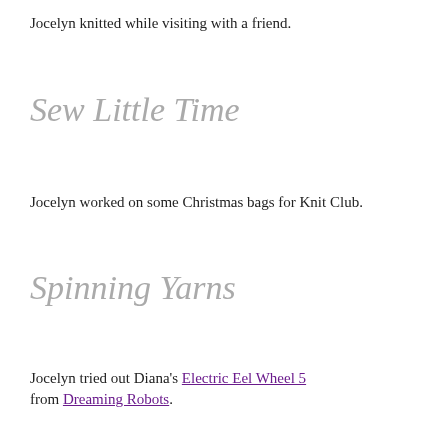Jocelyn knitted while visiting with a friend.
Sew Little Time
Jocelyn worked on some Christmas bags for Knit Club.
Spinning Yarns
Jocelyn tried out Diana's Electric Eel Wheel 5 from Dreaming Robots.
Wool Gathering
Help knit a sweater for Blizzard's Orc!